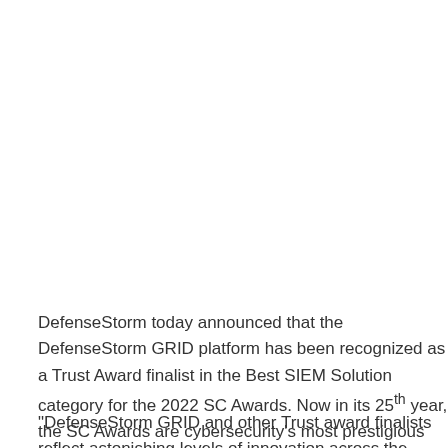DefenseStorm today announced that the DefenseStorm GRID platform has been recognized as a Trust Award finalist in the Best SIEM Solution category for the 2022 SC Awards. Now in its 25th year, the SC Awards are cybersecurity's most prestigious and competitive program. Finalists are recognized for outstanding solutions, organizations, and people driving innovation and success in information security.
"DefenseStorm GRID and other Trust award finalists reflect astonishing levels of innovation across the information security